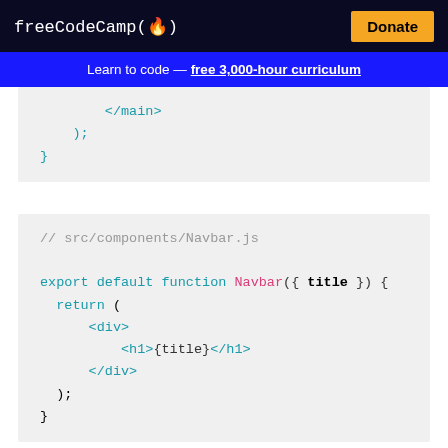freeCodeCamp(🔥)  Donate
Learn to code — free 3,000-hour curriculum
</main>
    );
}
// src/components/Navbar.js

export default function Navbar({ title }) {
  return (
      <div>
          <h1>{title}</h1>
      </div>
  );
}